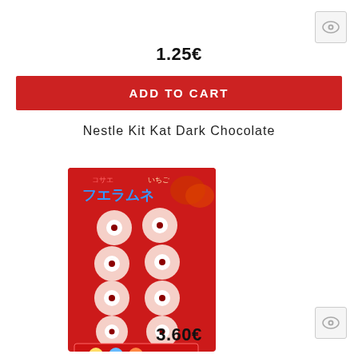[Figure (other): Eye/view icon in top right corner]
1.25€
ADD TO CART
Nestle Kit Kat Dark Chocolate
[Figure (photo): Japanese candy product - strawberry flavored donut-shaped candies on red packaging with Japanese text]
[Figure (other): Eye/view icon in bottom right corner]
3.60€